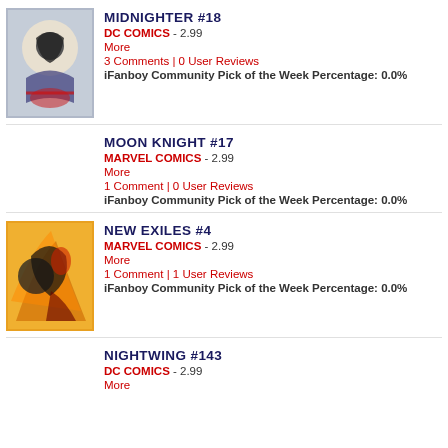MIDNIGHTER #18 | DC COMICS - 2.99 | More | 3 Comments | 0 User Reviews | iFanboy Community Pick of the Week Percentage: 0.0%
MOON KNIGHT #17 | MARVEL COMICS - 2.99 | More | 1 Comment | 0 User Reviews | iFanboy Community Pick of the Week Percentage: 0.0%
NEW EXILES #4 | MARVEL COMICS - 2.99 | More | 1 Comment | 1 User Reviews | iFanboy Community Pick of the Week Percentage: 0.0%
NIGHTWING #143 | DC COMICS - 2.99 | More